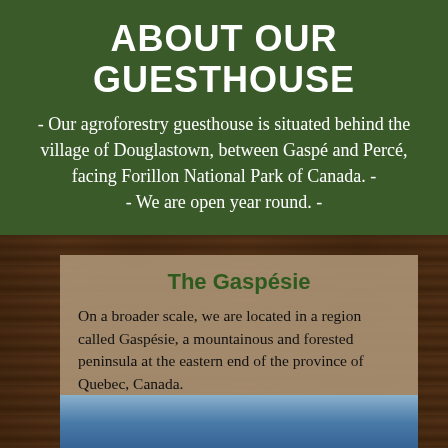ABOUT OUR GUESTHOUSE
- Our agroforestry guesthouse is situated behind the village of Douglastown, between Gaspé and Percé, facing Forillon National Park of Canada. - - We are open year round. -
The Gaspésie
On a broader scale, we are located in a region called Gaspésie, a mountainous and forested peninsula at the eastern end of the province of Quebec, Canada.
[Figure (photo): Partial view of a blue sky and landscape photo, cropped at bottom of page]